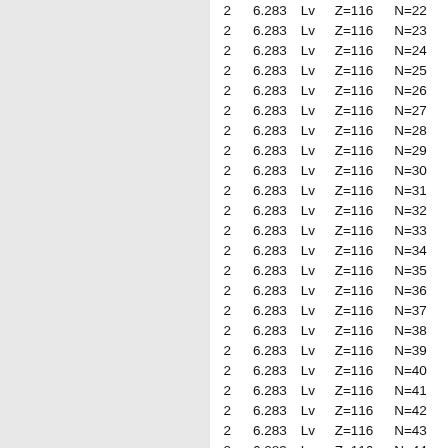| 2 | 6.283 | Lv | Z=116 | N=22 |
| 2 | 6.283 | Lv | Z=116 | N=23 |
| 2 | 6.283 | Lv | Z=116 | N=24 |
| 2 | 6.283 | Lv | Z=116 | N=25 |
| 2 | 6.283 | Lv | Z=116 | N=26 |
| 2 | 6.283 | Lv | Z=116 | N=27 |
| 2 | 6.283 | Lv | Z=116 | N=28 |
| 2 | 6.283 | Lv | Z=116 | N=29 |
| 2 | 6.283 | Lv | Z=116 | N=30 |
| 2 | 6.283 | Lv | Z=116 | N=31 |
| 2 | 6.283 | Lv | Z=116 | N=32 |
| 2 | 6.283 | Lv | Z=116 | N=33 |
| 2 | 6.283 | Lv | Z=116 | N=34 |
| 2 | 6.283 | Lv | Z=116 | N=35 |
| 2 | 6.283 | Lv | Z=116 | N=36 |
| 2 | 6.283 | Lv | Z=116 | N=37 |
| 2 | 6.283 | Lv | Z=116 | N=38 |
| 2 | 6.283 | Lv | Z=116 | N=39 |
| 2 | 6.283 | Lv | Z=116 | N=40 |
| 2 | 6.283 | Lv | Z=116 | N=41 |
| 2 | 6.283 | Lv | Z=116 | N=42 |
| 2 | 6.283 | Lv | Z=116 | N=43 |
| 2 | 6.283 | Lv | Z=116 | N=44 |
| 2 | 6.283 | Lv | Z=116 | N=45 |
| 2 | 6.283 | Lv | Z=116 | N=46 |